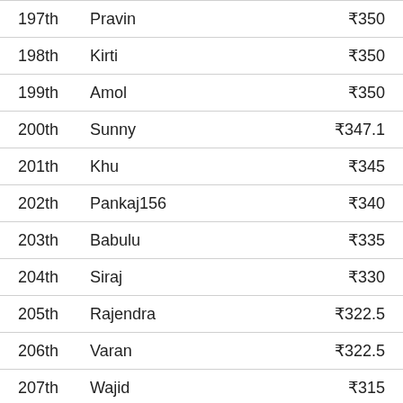| Rank | Name | Amount |
| --- | --- | --- |
| 197th | Pravin | ₹350 |
| 198th | Kirti | ₹350 |
| 199th | Amol | ₹350 |
| 200th | Sunny | ₹347.1 |
| 201th | Khu | ₹345 |
| 202th | Pankaj156 | ₹340 |
| 203th | Babulu | ₹335 |
| 204th | Siraj | ₹330 |
| 205th | Rajendra | ₹322.5 |
| 206th | Varan | ₹322.5 |
| 207th | Wajid | ₹315 |
| 208th | Udaybhanu | ₹315 |